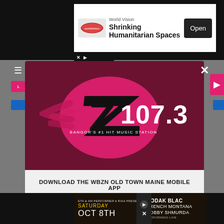[Figure (screenshot): Top advertisement banner: World Vision - Shrinking Humanitarian Spaces with Open button]
[Figure (logo): Z107.3 radio station logo - Bangor's #1 Hit Music Station, white Z with pink/red circle on dark maroon background]
DOWNLOAD THE WBZN OLD TOWN MAINE MOBILE APP
GET OUR FREE MOBILE APP
Also listen on:  amazon alexa
[Figure (screenshot): Bottom advertisement banner: Kodak Black, French Montana, Bobby Shmurda - Saturday Oct 8th concert ad]